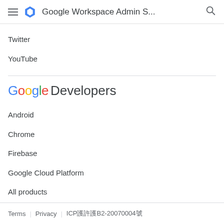Google Workspace Admin S...
Twitter
YouTube
[Figure (logo): Google Developers logo with multicolor Google text and gray Developers text]
Android
Chrome
Firebase
Google Cloud Platform
All products
Terms  |  Privacy  |  ICP護許護B2-20070004號